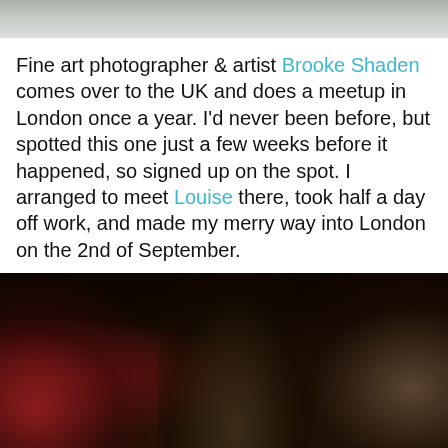[Figure (photo): Top portion of a photograph, partially cropped, showing light grey/white tones at the top of the page]
Fine art photographer & artist Brooke Shaden comes over to the UK and does a meetup in London once a year. I'd never been before, but spotted this one just a few weeks before it happened, so signed up on the spot. I arranged to meet Louise there, took half a day off work, and made my merry way into London on the 2nd of September.
[Figure (photo): A group of people at an indoor meetup event, showing several individuals including a person with red hair viewed from above, a person in the foreground, and a woman on the right side with short hair]
[Figure (infographic): Social sharing bar with six buttons: Twitter (blue bird icon), Facebook (blue f icon), Email (grey envelope icon), WhatsApp (green phone icon), SMS (green speech bubble icon), More (dark green circular arrow icon)]